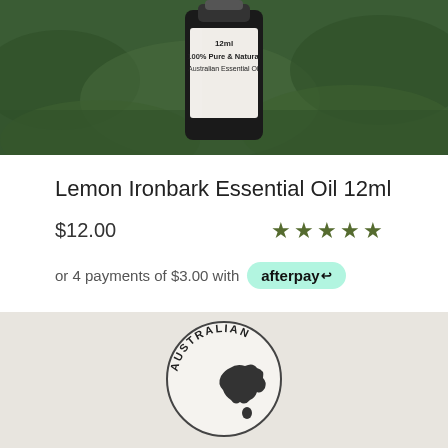[Figure (photo): Product photo of a small dark glass bottle labeled '12ml 100% Pure & Natural Australian Essential Oil' resting on green grass]
Lemon Ironbark Essential Oil 12ml
$12.00 ★★★★★
or 4 payments of $3.00 with afterpay
[Figure (logo): Australian circular badge/seal with silhouette of Australia map and text 'AUSTRALIAN']